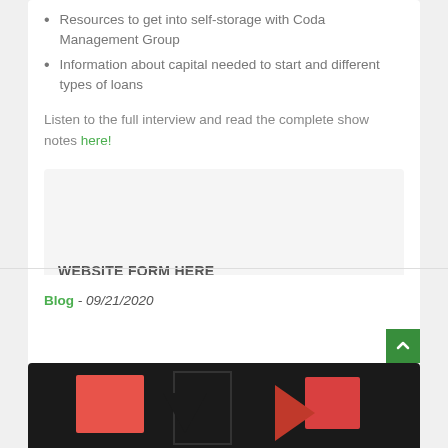Resources to get into self-storage with Coda Management Group
Information about capital needed to start and different types of loans
Listen to the full interview and read the complete show notes here!
WEBSITE FORM HERE
Blog - 09/21/2020
[Figure (photo): Dark background image with red and black geometric shapes, appears to be a logo or banner graphic]